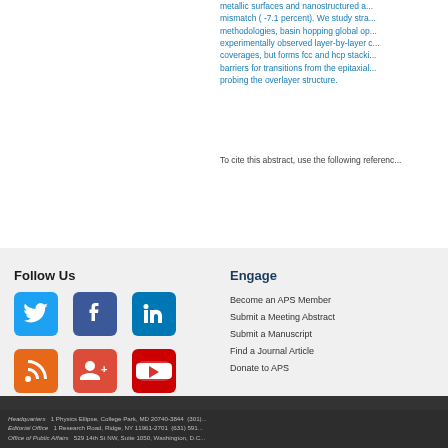metallic surfaces and nanostructured a... mismatch ( -7.1 percent). We study stra... methodologies, basin hopping global op... experimentally observed layer-by-layer c... coverages, but forms fcc and hcp stacki... barriers for transitions from the epitaxial... probing the overlayer structure.
To cite this abstract, use the following referenc...
Follow Us
Engage
[Figure (logo): Twitter bird icon on blue rounded square]
[Figure (logo): Facebook f icon on dark blue rounded square]
[Figure (logo): LinkedIn in icon on blue rounded square]
[Figure (logo): RSS feed icon on orange rounded square]
[Figure (logo): Google+ icon on red rounded square]
[Figure (logo): YouTube icon on red rounded square]
Become an APS Member
Submit a Meeting Abstract
Submit a Manuscript
Find a Journal Article
Donate to APS
© 2022 American Physical Society | All rights reserved | Terms of Use | C... Headquarters   1 Physics Ellipse, College Park, MD 20740-3844   (301)... Editorial Office   1 Research Road, Ridge, NY 11961-2701   (631) 591... Office of Public Affairs   529 14th St NW, Suite 1050, Washington, D.C...
This site uses cookies. To find out more, read our Privacy Policy.
I Agree